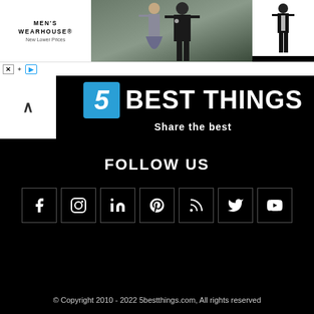[Figure (screenshot): Men's Wearhouse advertisement banner showing a couple in formal wear, a man in a tuxedo on the right, and an INFO button. Includes MEN'S WEARHOUSE logo with 'New Lower Prices' tagline.]
[Figure (logo): 5 Best Things logo with blue square '5' and white 'BEST THINGS' text on black background. Tagline: 'Share the best'. Up-arrow navigation element on left.]
FOLLOW US
[Figure (infographic): Row of 7 social media icons in bordered boxes: Facebook (f), Instagram, LinkedIn (in), Pinterest (p), RSS feed, Twitter, YouTube]
Contact Us   Write For Us   Advertise With Us
© Copyright 2010 - 2022 5bestthings.com, All rights reserved